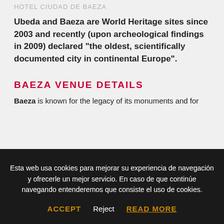HOTEL CIUDAD DE BAEZA
Ubeda and Baeza are World Heritage sites since 2003 and recently (upon archeological findings in 2009) declared “the oldest, scientifically documented city in continental Europe”.
BAEZA VENUE DETAILS
Baeza is known for the legacy of its monuments and for
Esta web usa cookies para mejorar su experiencia de navegación y ofrecerle un mejor servicio. En caso de que continúe navegando entenderemos que consiste el uso de cookies.
ACCEPT   Reject   READ MORE